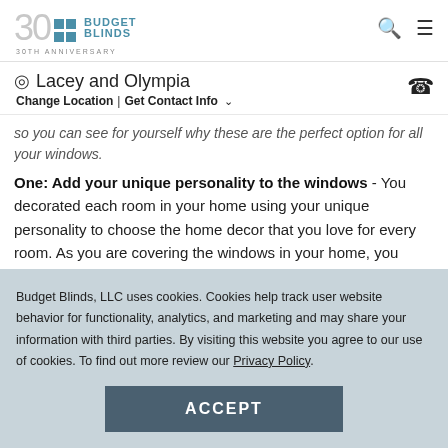Budget Blinds 30th Anniversary
Lacey and Olympia
Change Location | Get Contact Info
so you can see for yourself why these are the perfect option for all your windows.
One: Add your unique personality to the windows
You decorated each room in your home using your unique personality to choose the home decor that you love for every room. As you are covering the windows in your home, you need to make sure you are using your unique
Budget Blinds, LLC uses cookies. Cookies help track user website behavior for functionality, analytics, and marketing and may share your information with third parties. By visiting this website you agree to our use of cookies. To find out more review our Privacy Policy.
ACCEPT